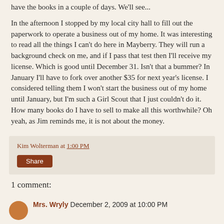have the books in a couple of days. We'll see...
In the afternoon I stopped by my local city hall to fill out the paperwork to operate a business out of my home. It was interesting to read all the things I can't do here in Mayberry. They will run a background check on me, and if I pass that test then I'll receive my license. Which is good until December 31. Isn't that a bummer? In January I'll have to fork over another $35 for next year's license. I considered telling them I won't start the business out of my home until January, but I'm such a Girl Scout that I just couldn't do it. How many books do I have to sell to make all this worthwhile? Oh yeah, as Jim reminds me, it is not about the money.
Kim Wolterman at 1:00 PM
Share
1 comment:
Mrs. Wryly December 2, 2009 at 10:00 PM